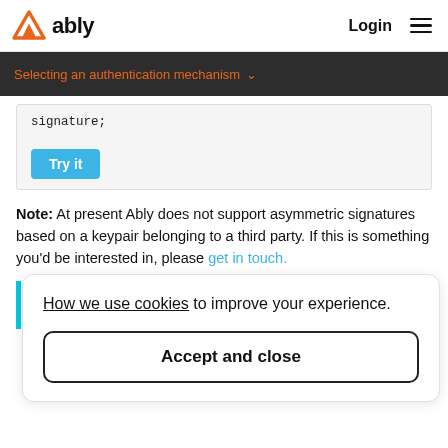ably — Login
Selecting an authentication mechanism
signature;
Try it
Note: At present Ably does not support asymmetric signatures based on a keypair belonging to a third party. If this is something you'd be interested in, please get in touch.
How we use cookies to improve your experience.
Accept and close
d in a to clients
useful to embed an Ably-compatible token as a claim within it. The External JWT and embedded Ably-compatible token need to